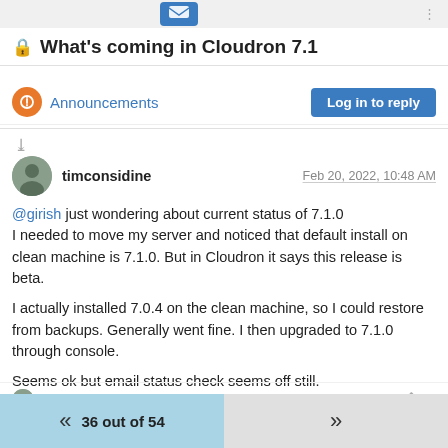🔒 What's coming in Cloudron 7.1
Announcements | Log in to reply
timconsidine  Feb 20, 2022, 10:48 AM
@girish just wondering about current status of 7.1.0
I needed to move my server and noticed that default install on clean machine is 7.1.0. But in Cloudron it says this release is beta.

I actually installed 7.0.4 on the clean machine, so I could restore from backups. Generally went fine. I then upgraded to 7.1.0 through console.

Seems ok but email status check seems off still.
And System Info shows no data.
1 Reply >   0
36 out of 54